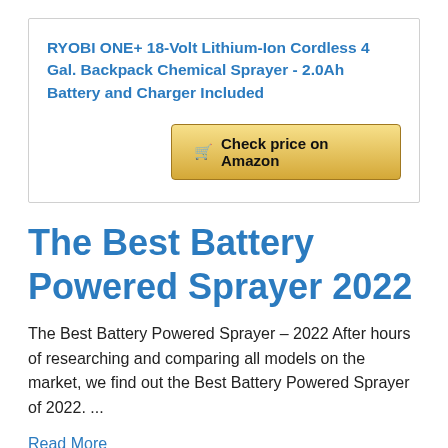RYOBI ONE+ 18-Volt Lithium-Ion Cordless 4 Gal. Backpack Chemical Sprayer - 2.0Ah Battery and Charger Included
Check price on Amazon
The Best Battery Powered Sprayer 2022
The Best Battery Powered Sprayer – 2022 After hours of researching and comparing all models on the market, we find out the Best Battery Powered Sprayer of 2022. ...
Read More
Posted in Review